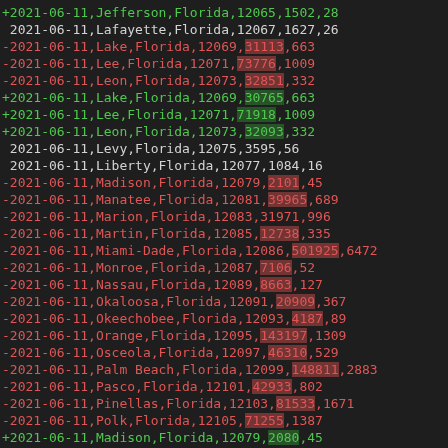CSV diff output showing additions (+) and deletions (-) for Florida county COVID-19 data dated 2021-06-11
+2021-06-11,Jefferson,Florida,12065,1502,28
2021-06-11,Lafayette,Florida,12067,1627,26
-2021-06-11,Lake,Florida,12069,31113,663
-2021-06-11,Lee,Florida,12071,73776,1009
-2021-06-11,Leon,Florida,12073,32851,332
+2021-06-11,Lake,Florida,12069,30765,663
+2021-06-11,Lee,Florida,12071,71918,1009
+2021-06-11,Leon,Florida,12073,32093,332
2021-06-11,Levy,Florida,12075,3595,56
2021-06-11,Liberty,Florida,12077,1084,16
-2021-06-11,Madison,Florida,12079,2101,45
-2021-06-11,Manatee,Florida,12081,39965,689
-2021-06-11,Marion,Florida,12083,31971,996
-2021-06-11,Martin,Florida,12085,12738,335
-2021-06-11,Miami-Dade,Florida,12086,501925,6472
-2021-06-11,Monroe,Florida,12087,7106,52
-2021-06-11,Nassau,Florida,12089,8663,127
-2021-06-11,Okaloosa,Florida,12091,20909,367
-2021-06-11,Okeechobee,Florida,12093,4187,89
-2021-06-11,Orange,Florida,12095,143197,1309
-2021-06-11,Osceola,Florida,12097,46310,529
-2021-06-11,Palm Beach,Florida,12099,148811,2883
-2021-06-11,Pasco,Florida,12101,42933,802
-2021-06-11,Pinellas,Florida,12103,81533,1671
-2021-06-11,Polk,Florida,12105,71255,1387
+2021-06-11,Madison,Florida,12079,2080,45
+2021-06-11,Manatee,Florida,12081,39284,689
+2021-06-11,Marion,Florida,12083,31951,996
+2021-06-11,Martin,Florida,12085,12596,335
+2021-06-11,Miami-Dade,Florida,12086,497726,6472
+2021-06-11,Monroe,Florida,12087,6739,52
+2021-06-11,Nassau,Florida,12089,8276,127